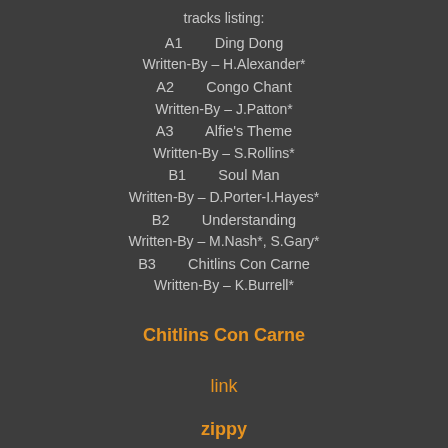tracks listing:
A1        Ding Dong
Written-By – H.Alexander*
A2        Congo Chant
Written-By – J.Patton*
A3        Alfie's Theme
Written-By – S.Rollins*
B1        Soul Man
Written-By – D.Porter-I.Hayes*
B2        Understanding
Written-By – M.Nash*, S.Gary*
B3        Chitlins Con Carne
Written-By – K.Burrell*
Chitlins Con Carne
link
zippy